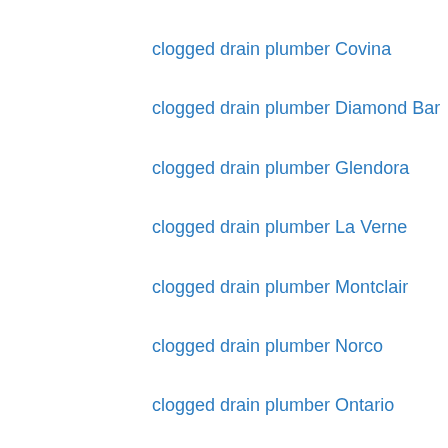clogged drain plumber Covina
clogged drain plumber Diamond Bar
clogged drain plumber Glendora
clogged drain plumber La Verne
clogged drain plumber Montclair
clogged drain plumber Norco
clogged drain plumber Ontario
clogged drain plumber Pomona
clogged drain plumber Rancho Cucamonga
clogged drain plumber Rowland Heights